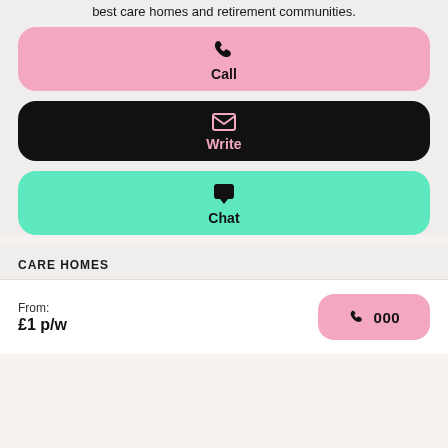best care homes and retirement communities.
[Figure (illustration): Pink rounded button with phone icon and label 'Call']
[Figure (illustration): Black rounded button with pink envelope icon and label 'Write' in pink]
[Figure (illustration): Green/teal rounded button with chat bubble icon and label 'Chat']
CARE HOMES
From: £1 p/w
[Figure (illustration): Pink rounded button with phone icon and '000' label]